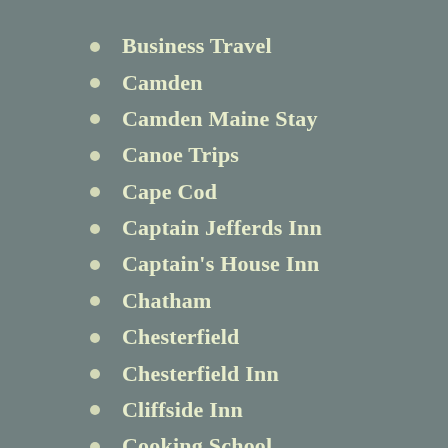Business Travel
Camden
Camden Maine Stay
Canoe Trips
Cape Cod
Captain Jefferds Inn
Captain's House Inn
Chatham
Chesterfield
Chesterfield Inn
Cliffside Inn
Cooking School
Country Inns
culinary travel